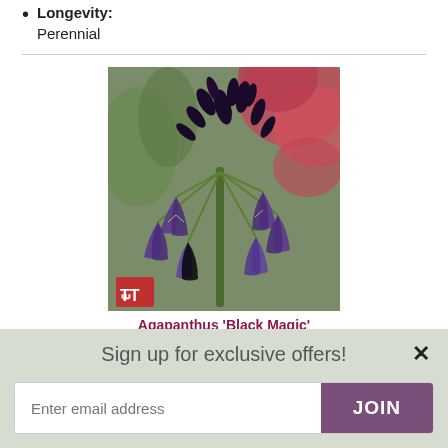Longevity: Perennial
[Figure (photo): Close-up photograph of Agapanthus 'Black Magic' plant with deep purple/blue tubular flowers and dark buds on green stems, with blurred pink flowers in background. Small red logo in bottom-left corner.]
Agapanthus 'Black Magic'
Sign up for exclusive offers!
Enter email address JOIN